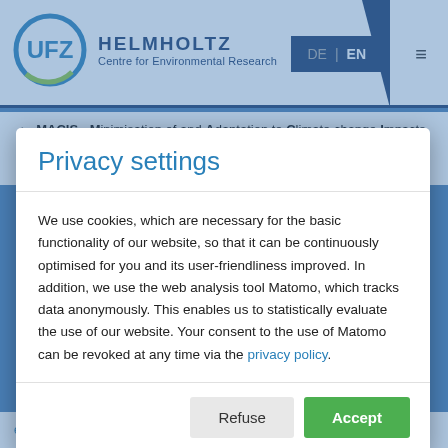UFZ Helmholtz Centre for Environmental Research — DE | EN
MACIS - Minimisation of and Adaptation to Climate change Impacts on biodiverSity (EU FP 6, Scientific support to policies project, 2006 - 2008)
Privacy settings
We use cookies, which are necessary for the basic functionality of our website, so that it can be continuously optimised for you and its user-friendliness improved. In addition, we use the web analysis tool Matomo, which tracks data anonymously. This enables us to statistically evaluate the use of our website. Your consent to the use of Matomo can be revoked at any time via the privacy policy.
ecosystem as influe... een Veining and Land-use